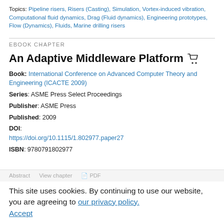Topics: Pipeline risers, Risers (Casting), Simulation, Vortex-induced vibration, Computational fluid dynamics, Drag (Fluid dynamics), Engineering prototypes, Flow (Dynamics), Fluids, Marine drilling risers
EBOOK CHAPTER
An Adaptive Middleware Platform
Book: International Conference on Advanced Computer Theory and Engineering (ICACTE 2009)
Series: ASME Press Select Proceedings
Publisher: ASME Press
Published: 2009
DOI: https://doi.org/10.1115/1.802977.paper27
ISBN: 9780791802977
This site uses cookies. By continuing to use our website, you are agreeing to our privacy policy. Accept